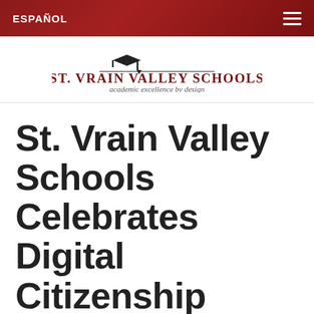ESPAÑOL
[Figure (logo): St. Vrain Valley Schools logo with graduation cap icon and text 'ST. VRAIN VALLEY SCHOOLS academic excellence by design']
St. Vrain Valley Schools Celebrates Digital Citizenship Week, October 19-23, 2020
POSTED ON OCTOBER 20, 2020